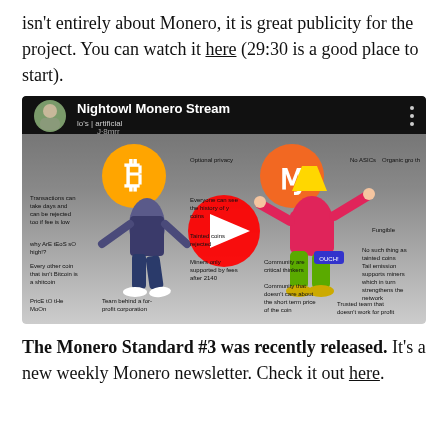isn't entirely about Monero, it is great publicity for the project. You can watch it here (29:30 is a good place to start).
[Figure (screenshot): YouTube video thumbnail for 'Nightowl Monero Stream' showing a comparison meme between Bitcoin (weak man) and Monero (strong man) with various text labels listing pros and cons of each cryptocurrency.]
The Monero Standard #3 was recently released. It's a new weekly Monero newsletter. Check it out here.